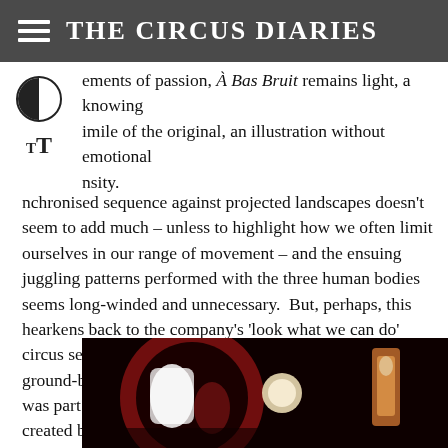THE CIRCUS DIARIES
ements of passion, À Bas Bruit remains light, a knowing imile of the original, an illustration without emotional nsity.
nchronised sequence against projected landscapes doesn't seem to add much – unless to highlight how we often limit ourselves in our range of movement – and the ensuing juggling patterns performed with the three human bodies seems long-winded and unnecessary.  But, perhaps, this hearkens back to the company's 'look what we can do' circus sensibilities (director Mathurin Bolze worked with ground-breaking contemporary circus troupe Archaos, and was part of the seminal production Cri du Caméléon, created by Joseph Nadj for CNAC).
[Figure (photo): Dark stage photo showing circus performers with red circular set piece and projected imagery, against a black background]